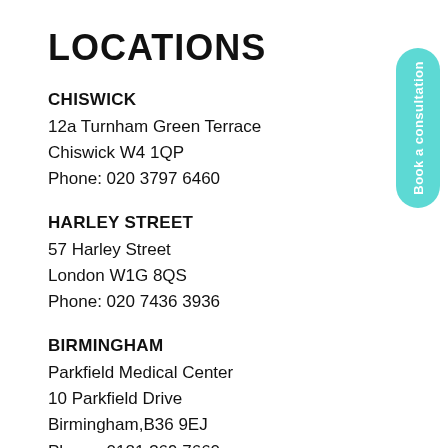LOCATIONS
CHISWICK
12a Turnham Green Terrace
Chiswick W4 1QP
Phone: 020 3797 6460
HARLEY STREET
57 Harley Street
London W1G 8QS
Phone: 020 7436 3936
BIRMINGHAM
Parkfield Medical Center
10 Parkfield Drive
Birmingham,B36 9EJ
Phone: 0121 369 7660
[Figure (other): Teal rounded pill-shaped button with vertical text reading 'Book a consultation']